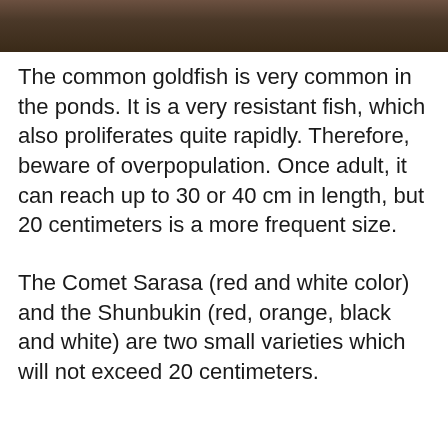[Figure (photo): Partial photo of what appears to be an animal (fish or similar), cropped at top of page]
The common goldfish is very common in the ponds. It is a very resistant fish, which also proliferates quite rapidly. Therefore, beware of overpopulation. Once adult, it can reach up to 30 or 40 cm in length, but 20 centimeters is a more frequent size.
The Comet Sarasa (red and white color) and the Shunbukin (red, orange, black and white) are two small varieties which will not exceed 20 centimeters.